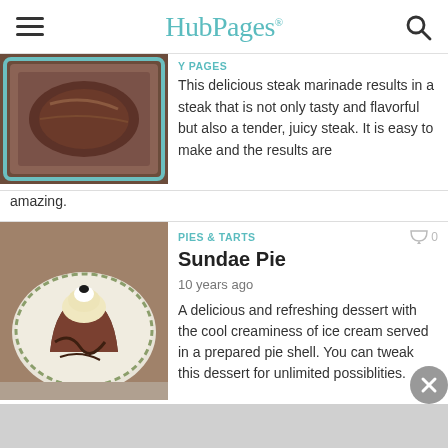HubPages
[Figure (photo): Photo of a marinated steak in a baking dish]
This delicious steak marinade results in a steak that is not only tasty and flavorful but also a tender, juicy steak. It is easy to make and the results are amazing.
PIES & TARTS
[Figure (photo): Photo of a sundae pie slice on a plate with chocolate sauce and whipped cream]
Sundae Pie
10 years ago
A delicious and refreshing dessert with the cool creaminess of ice cream served in a prepared pie shell. You can tweak this dessert for unlimited possiblities.
FRUIT INGREDIENTS
[Figure (photo): Photo of chips and guacamole ingredients]
Homemade Guacamole